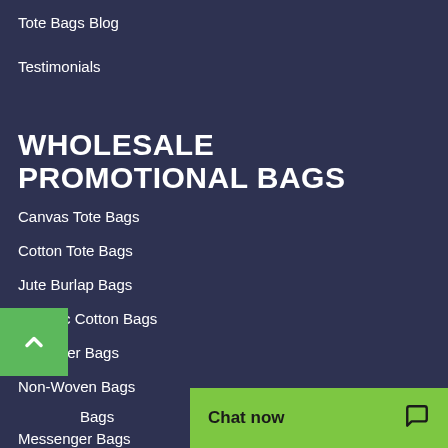Tote Bags Blog
Testimonials
WHOLESALE PROMOTIONAL BAGS
Canvas Tote Bags
Cotton Tote Bags
Jute Burlap Bags
Organic Cotton Bags
Polyester Bags
Non-Woven Bags
Bags
Messenger Bags
Chat now